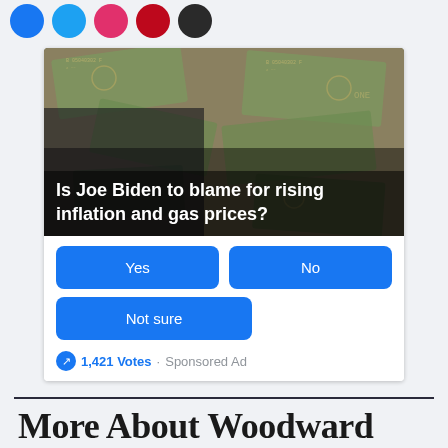[Figure (illustration): Row of social media share icon circles (Facebook blue, Twitter blue, pink/magenta, red, dark/black) at top of page]
[Figure (photo): Interactive poll ad widget. Shows photo of Joe Biden in front of scattered US dollar bills. Overlay text reads: Is Joe Biden to blame for rising inflation and gas prices? Below image are three blue poll buttons: Yes, No, Not sure. Footer shows 1,421 Votes · Sponsored Ad]
1,421 Votes · Sponsored Ad
More About Woodward Table